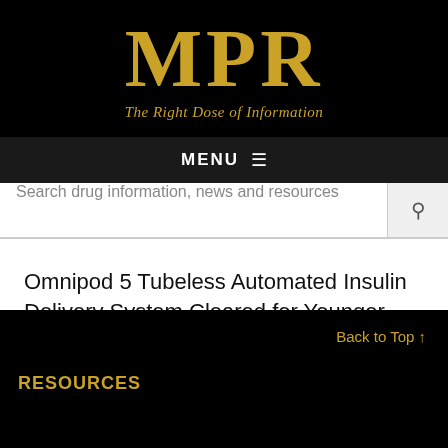[Figure (logo): MPR logo with tagline 'The Right Dose of Information' on black background]
MENU ≡
Search drug information, news and resources
Omnipod 5 Tubeless Automated Insulin Delivery System Cleared for Younger Kids
Back to Top ↑
RESOURCES